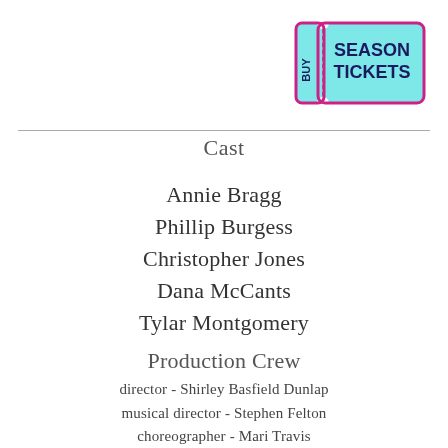[Figure (illustration): Ticket-shaped graphic with cyan/aqua background, magenta border, reading 'BUY SEASON TICKETS' in dark navy text with a vertical 'BUY' label on the left side stub.]
Cast
Annie Bragg
Phillip Burgess
Christopher Jones
Dana McCants
Tylar Montgomery
Production Crew
director - Shirley Basfield Dunlap
musical director - Stephen Felton
choreographer - Mari Travis
rehearsal stage manager - Tiana Brown
production stage manager - Molly Hopkins
lighting designer - Fuzz Roark